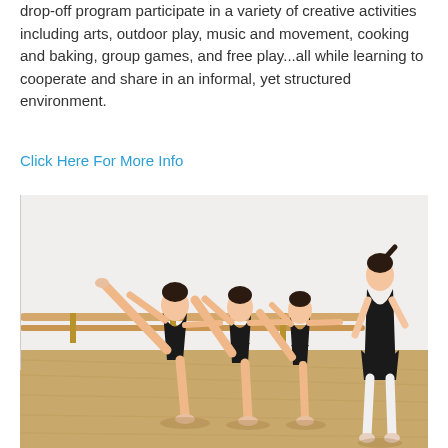drop-off program participate in a variety of creative activities including arts, outdoor play, music and movement, cooking and baking, group games, and free play...all while learning to cooperate and share in an informal, yet structured environment.
Click Here For More Info
[Figure (photo): Ballet students in black leotards doing leg extensions at a barre, with an instructor watching from the right side of the studio.]